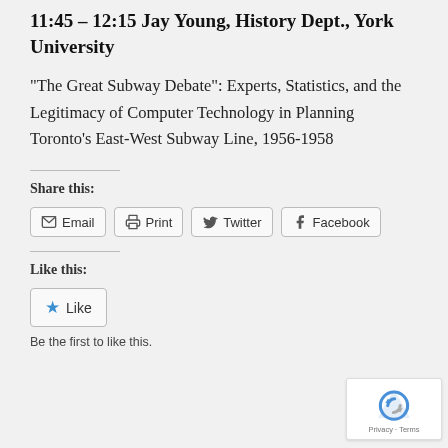11:45 – 12:15 Jay Young, History Dept., York University
“The Great Subway Debate”: Experts, Statistics, and the Legitimacy of Computer Technology in Planning Toronto’s East-West Subway Line, 1956-1958
Share this:
Email  Print  Twitter  Facebook
Like this:
Like
Be the first to like this.